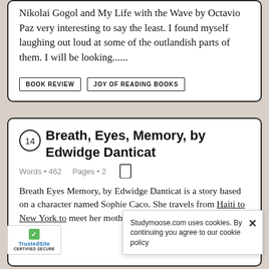Nikolai Gogol and My Life with the Wave by Octavio Paz very interesting to say the least. I found myself laughing out loud at some of the outlandish parts of them. I will be looking......
BOOK REVIEW
JOY OF READING BOOKS
14 Breath, Eyes, Memory, by Edwidge Danticat
Words • 462    Pages • 2
Breath Eyes Memory, by Edwidge Danticat is a story based on a character named Sophie Caco. She travels from Haiti to New York to meet her mother M... Both settin... ch as; Lifes...